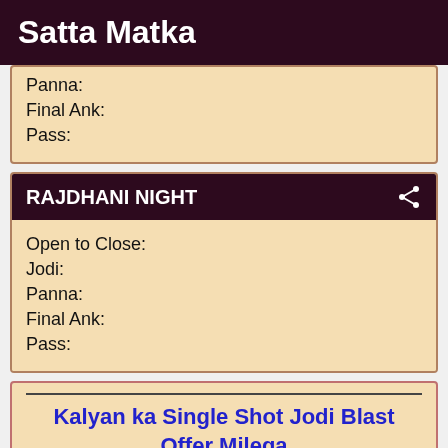Satta Matka
Panna:
Final Ank:
Pass:
RAJDHANI NIGHT
Open to Close:
Jodi:
Panna:
Final Ank:
Pass:
Kalyan ka Single Shot Jodi Blast Offer Milega
Aaj Date : 29-08-2023